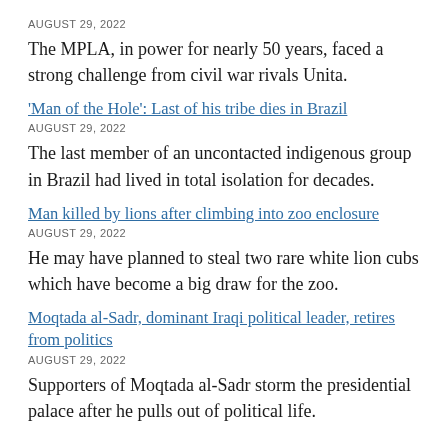AUGUST 29, 2022
The MPLA, in power for nearly 50 years, faced a strong challenge from civil war rivals Unita.
'Man of the Hole': Last of his tribe dies in Brazil
AUGUST 29, 2022
The last member of an uncontacted indigenous group in Brazil had lived in total isolation for decades.
Man killed by lions after climbing into zoo enclosure
AUGUST 29, 2022
He may have planned to steal two rare white lion cubs which have become a big draw for the zoo.
Moqtada al-Sadr, dominant Iraqi political leader, retires from politics
AUGUST 29, 2022
Supporters of Moqtada al-Sadr storm the presidential palace after he pulls out of political life.